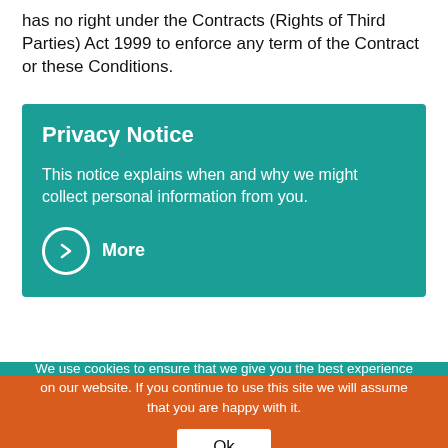has no right under the Contracts (Rights of Third Parties) Act 1999 to enforce any term of the Contract or these Conditions.
Privacy Notice
This notice explains when and why we might collect personal information from you.
More
We use cookies to ensure that we give you the best experience on our website. If you continue to use this site we will assume that you are happy with it.
Ok